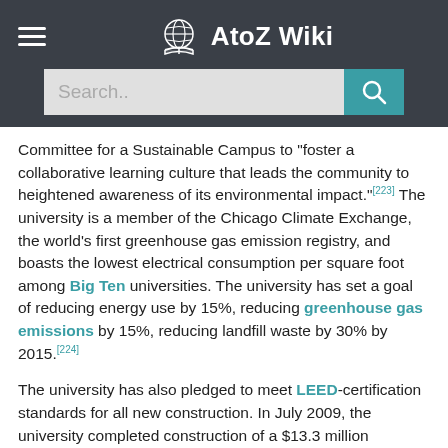AtoZ Wiki
Committee for a Sustainable Campus to "foster a collaborative learning culture that leads the community to heightened awareness of its environmental impact."[223] The university is a member of the Chicago Climate Exchange, the world's first greenhouse gas emission registry, and boasts the lowest electrical consumption per square foot among Big Ten universities. The university has set a goal of reducing energy use by 15%, reducing greenhouse gas emissions by 15%, reducing landfill waste by 30% by 2015.[224]
The university has also pledged to meet LEED-certification standards for all new construction. In July 2009, the university completed construction of a $13.3 million recycling center, and hopes to double their 2008 recycling rate of 14% by 2010.[225] The construction of Brody Hall, a residence hall of Michigan State University Housing, was completed in August 2011 and